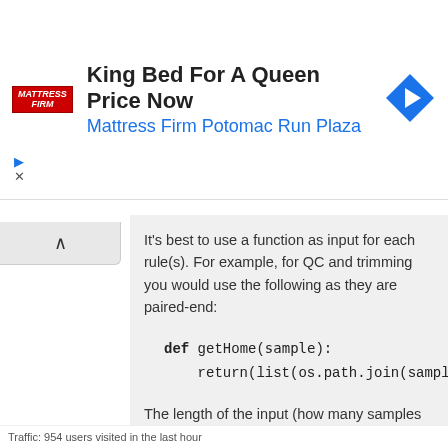[Figure (screenshot): Advertisement banner for Mattress Firm Potomac Run Plaza with logo, navigation icon, play and close controls]
It's best to use a function as input for each rule(s). For example, for QC and trimming you would use the following as they are paired-end:
The length of the input (how many samples are being processed) is determined via len_samples = len(sample_names) and for trimming it would look like:
Traffic: 954 users visited in the last hour